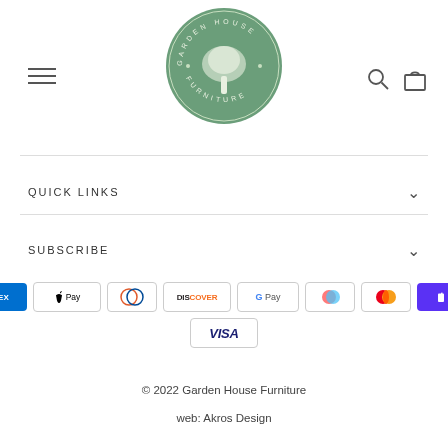[Figure (logo): Garden House Furniture circular logo with green background and white tree illustration]
QUICK LINKS
SUBSCRIBE
[Figure (infographic): Payment method icons: American Express, Apple Pay, Diners Club, Discover, Google Pay, PayPal, Mastercard, Shopify Pay, Visa]
© 2022 Garden House Furniture
web: Akros Design